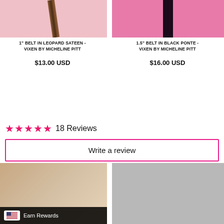[Figure (photo): Product photo of 1 inch belt in leopard sateen against pink background]
1" BELT IN LEOPARD SATEEN - VIXEN BY MICHELINE PITT
$13.00 USD
[Figure (photo): Product photo of 1.5 inch belt in black ponte against pink background]
1.5" BELT IN BLACK PONTE - VIXEN BY MICHELINE PITT
$16.00 USD
⭐⭐⭐⭐⭐ 18 Reviews
Write a review
[Figure (screenshot): Earn Rewards UI with US flag icon and dark overlay]
[Figure (photo): Person wearing black outfit, email icon circle overlay]